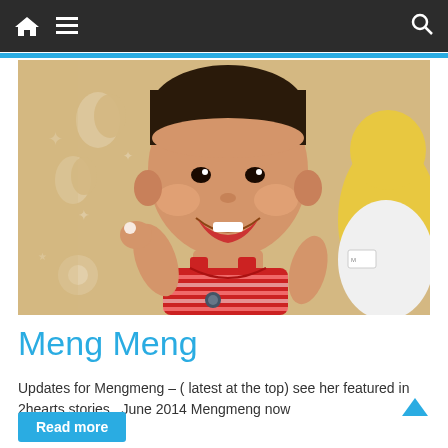Navigation bar with home icon, menu icon, and search icon
[Figure (photo): Smiling baby lying on a patterned cushion with moon and star designs, wearing a red and white striped tank top, with a stuffed animal partially visible on the right]
Meng Meng
Updates for Mengmeng – ( latest at the top) see her featured in 2hearts stories   June 2014 Mengmeng now
Read more